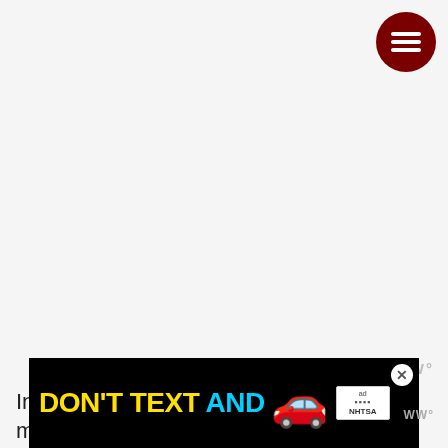[Figure (other): Dark red circular hamburger menu button with three white horizontal lines, positioned top right]
[Figure (other): Watermark/logo 'WW°' in gray, positioned right side mid-lower area]
In it, you play as the son of Hades on a mission to
[Figure (other): Advertisement banner: DON'T TEXT AND [car emoji] with ad badge showing NHTSA logo, with X close button]
esc... uarded by... olympus